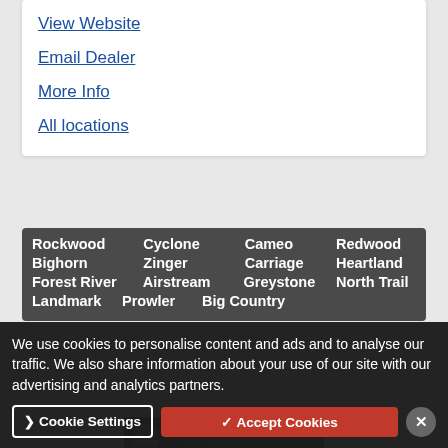View Website
Email Dealer
More Info
All locations
Rockwood  Cyclone  Cameo  Redwood  Bighorn  Zinger  Carriage  Heartland  Forest River  Airstream  Greystone  North Trail  Landmark  Prowler  Big Country
[Figure (logo): Airstream of Austin logo — dark background with blue Airstream text and trailer icon]
Airstream of Austin
15855 S. IH 35 Exit 220
Sales  512-553-4075
View live...
We use cookies to personalise content and ads and to analyse our traffic. We also share information about your use of our site with our advertising and analytics partners.
Cookie Settings
✓ Accept Cookies